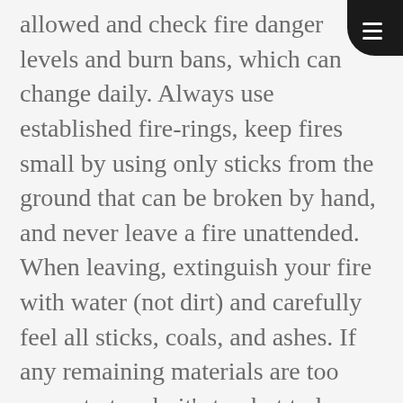allowed and check fire danger levels and burn bans, which can change daily. Always use established fire-rings, keep fires small by using only sticks from the ground that can be broken by hand, and never leave a fire unattended. When leaving, extinguish your fire with water (not dirt) and carefully feel all sticks, coals, and ashes. If any remaining materials are too warm to touch, it's too hot to leave. A true Leave No Trace fire shows no evidence of having been constructed.